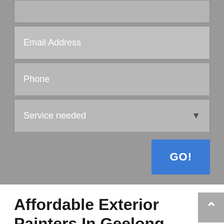[Figure (screenshot): Web form with Email Address field, Phone field, Service needed dropdown, and GO! button on grey background]
Affordable Exterior Painters In Geelong
Exterior Painting in Geelong for your home is a great way to make it feel like new again. Anyone can do it, but will they take time and care for you? Painters Geelong always makes sure that we perform our jobs properly